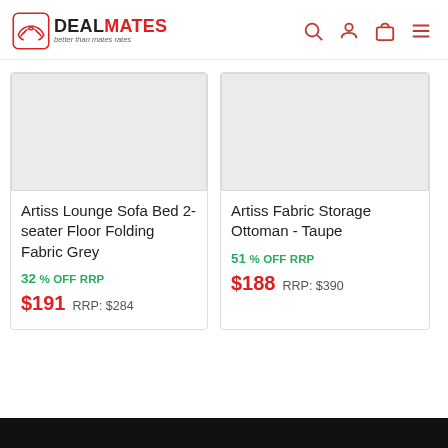DEAL MATES - better than mates rates
[Figure (other): Product image placeholder - grey box for Artiss Lounge Sofa Bed 2-seater Floor Folding Fabric Grey]
Artiss Lounge Sofa Bed 2-seater Floor Folding Fabric Grey
32 % OFF RRP
$191  RRP: $284
[Figure (other): Product image placeholder - grey box for Artiss Fabric Storage Ottoman - Taupe]
Artiss Fabric Storage Ottoman - Taupe
51 % OFF RRP
$188  RRP: $390